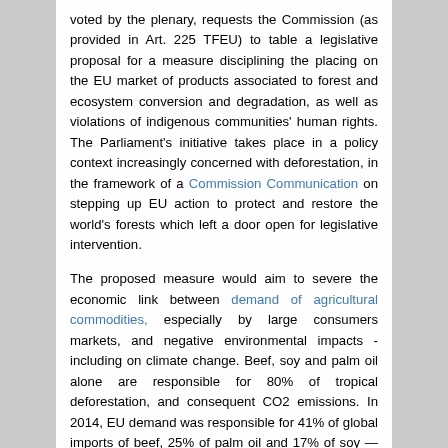voted by the plenary, requests the Commission (as provided in Art. 225 TFEU) to table a legislative proposal for a measure disciplining the placing on the EU market of products associated to forest and ecosystem conversion and degradation, as well as violations of indigenous communities' human rights. The Parliament's initiative takes place in a policy context increasingly concerned with deforestation, in the framework of a Commission Communication on stepping up EU action to protect and restore the world's forests which left a door open for legislative intervention.
The proposed measure would aim to severe the economic link between demand of agricultural commodities, especially by large consumers markets, and negative environmental impacts - including on climate change. Beef, soy and palm oil alone are responsible for 80% of tropical deforestation, and consequent CO2 emissions. In 2014, EU demand was responsible for 41% of global imports of beef, 25% of palm oil and 17% of soy — all major drivers of the commodities